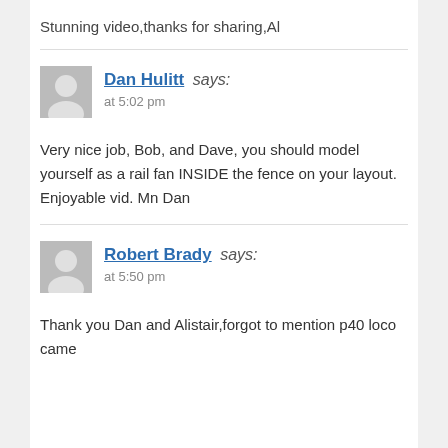Stunning video,thanks for sharing,Al
Dan Hulitt says: at 5:02 pm
Very nice job, Bob, and Dave, you should model yourself as a rail fan INSIDE the fence on your layout. Enjoyable vid. Mn Dan
Robert Brady says: at 5:50 pm
Thank you Dan and Alistair,forgot to mention p40 loco came